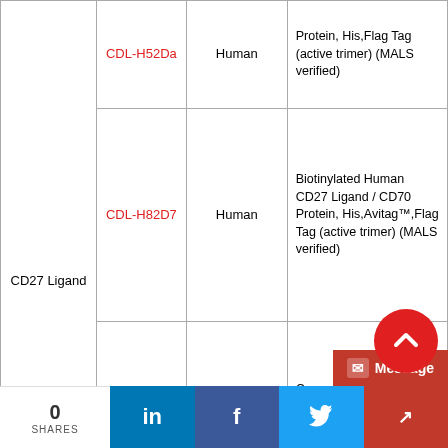| Name | Cat# | Species | Description |
| --- | --- | --- | --- |
| CD27 Ligand | CDL-H52Da | Human | Protein, His,Flag Tag (active trimer) (MALS verified) |
| CD27 Ligand | CDL-H82D7 | Human | Biotinylated Human CD27 Ligand / CD70 Protein, His,Avitag™,Flag Tag (active trimer) (MALS verified) |
| CD27 Ligand | CDL-C5244 | Cynomolgus | Cynomolgus CD27 Ligand / CD70 Protein, His Tag (active trimer) (MALS verified) |
| CD27 Ligand |  |  | Mouse CD27... |